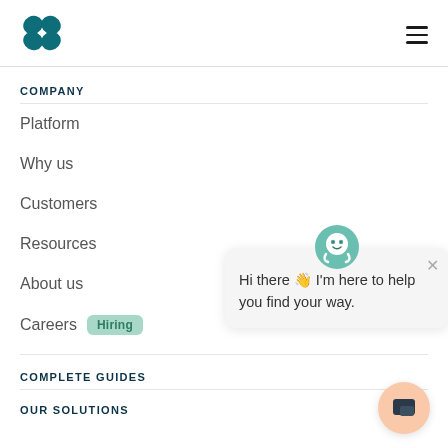[Figure (logo): Teal butterfly/4-leaf clover logo in top left]
COMPANY
Platform
Why us
Customers
Resources
About us
Careers  Hiring
[Figure (screenshot): Chatbot popup with robot avatar saying: Hi there 👋 I'm here to help you find your way.]
COMPLETE GUIDES
OUR SOLUTIONS